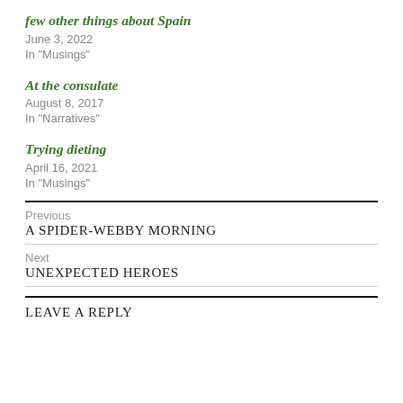few other things about Spain
June 3, 2022
In "Musings"
At the consulate
August 8, 2017
In "Narratives"
Trying dieting
April 16, 2021
In "Musings"
Previous
A SPIDER-WEBBY MORNING
Next
UNEXPECTED HEROES
LEAVE A REPLY